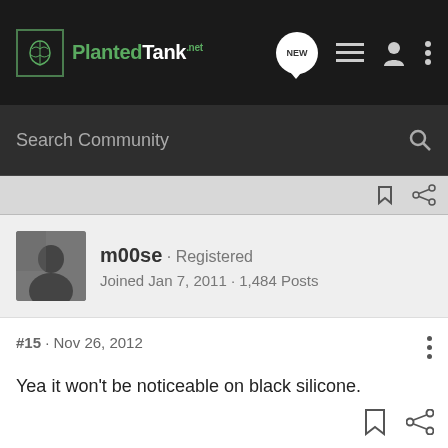PlantedTank — navigation bar with logo, NEW button, list icon, user icon, more icon
Search Community
m00se · Registered
Joined Jan 7, 2011 · 1,484 Posts
#15 · Nov 26, 2012
Yea it won't be noticeable on black silicone.